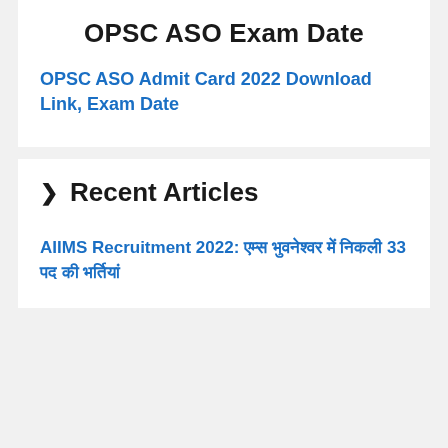OPSC ASO Exam Date
OPSC ASO Admit Card 2022 Download Link, Exam Date
Recent Articles
AIIMS Recruitment 2022: एम्स भुवनेश्वर में निकली 33 पद की भर्तियां